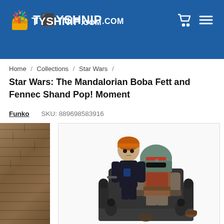TOYSHNIP.COM
Home / Collections / Star Wars /
Star Wars: The Mandalorian Boba Fett and Fennec Shand Pop! Moment
Funko   SKU: 889698583916
[Figure (photo): Funko Pop! Moment figure set showing Fennec Shand and Boba Fett in his Mandalorian armor seated on a throne, with smaller figures on the base. Left side shows a partial brick wall background.]